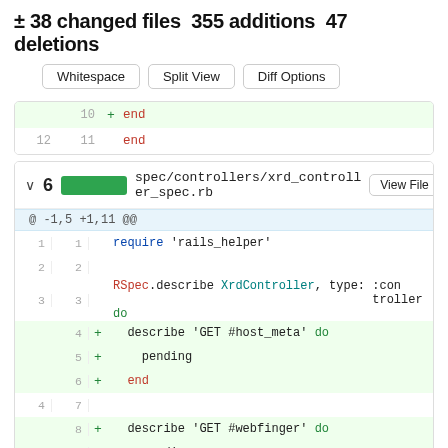± 38 changed files 355 additions 47 deletions
[Figure (screenshot): GitHub diff view with Whitespace, Split View, Diff Options buttons and code diff showing end lines]
[Figure (screenshot): GitHub diff file panel for spec/controllers/xrd_controller_spec.rb with code diff showing added describe blocks for GET #host_meta and GET #webfinger]